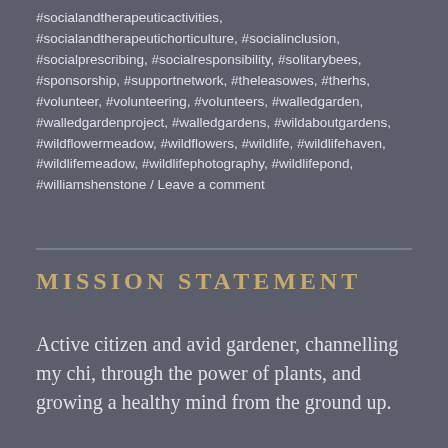#socialandtherapeuticactivities, #socialandtherapeutichorticulture, #socialinclusion, #socialprescribing, #socialresponsibility, #solitarybees, #sponsorship, #supportnetwork, #theleasowes, #therhs, #volunteer, #volunteering, #volunteers, #walledgarden, #walledgardenproject, #walledgardens, #wildaboutgardens, #wildflowermeadow, #wildflowers, #wildlife, #wildlifehaven, #wildlifemeadow, #wildlifephotography, #wildlifepond, #williamshenstone / Leave a comment
MISSION STATEMENT
Active citizen and avid gardener, channelling my chi, through the power of plants, and growing a healthy mind from the ground up.